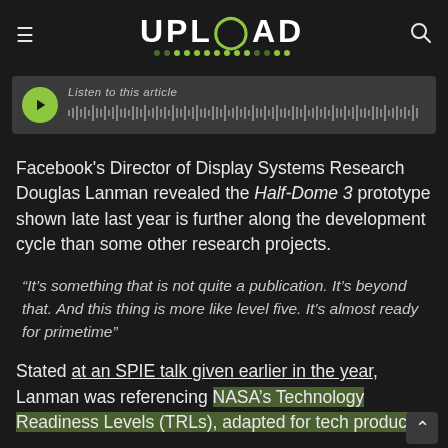UPLOAD
[Figure (screenshot): Audio player widget with green play button and waveform visualization, labeled 'Listen to this article']
Facebook's Director of Display Systems Research Douglas Lanman revealed the Half-Dome 3 prototype shown late last year is further along the development cycle than some other research projects.
“It’s something that is not quite a publication. It’s beyond that. And this thing is more like level five. It’s almost ready for primetime”
Stated at an SPIE talk given earlier in the year, Lanman was referencing NASA’s Technology Readiness Levels (TRLs), adapted for tech products: